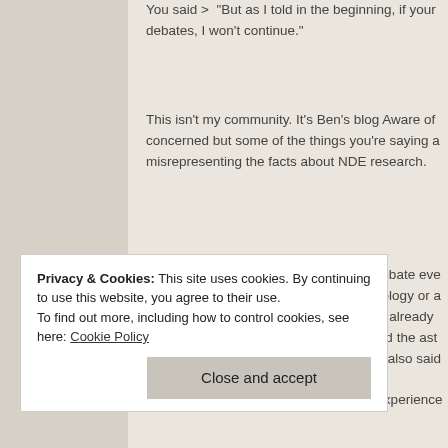You said > "But as I told in the beginning, if your debates, I won't continue."
This isn't my community. It's Ben's blog Aware of concerned but some of the things you're saying are misrepresenting the facts about NDE research.
Aware 2 will not necessarily settle the debate eve Many scientists will go after the methodology or a invent to discredit it. Steven Novella has already body experiences are possible. His friend the ast that life after death is impossible and he also said research to know that it is flawed !
their minds whatsoever that what they experience
Privacy & Cookies: This site uses cookies. By continuing to use this website, you agree to their use.
To find out more, including how to control cookies, see here: Cookie Policy
Close and accept